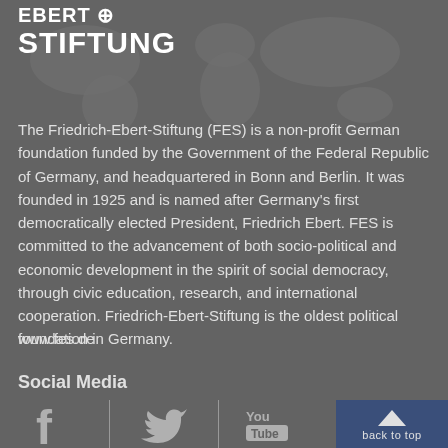[Figure (logo): Friedrich-Ebert-Stiftung logo with globe icon, text EBERT STIFTUNG in white bold uppercase letters]
The Friedrich-Ebert-Stiftung (FES) is a non-profit German foundation funded by the Government of the Federal Republic of Germany, and headquartered in Bonn and Berlin. It was founded in 1925 and is named after Germany's first democratically elected President, Friedrich Ebert. FES is committed to the advancement of both socio-political and economic development in the spirit of social democracy, through civic education, research, and international cooperation. Friedrich-Ebert-Stiftung is the oldest political foundation in Germany.
www.fes.de
Social Media
[Figure (illustration): Social media icons: Facebook (f), Twitter (bird), YouTube (You Tube logo), and a back to top button with triangle arrow]